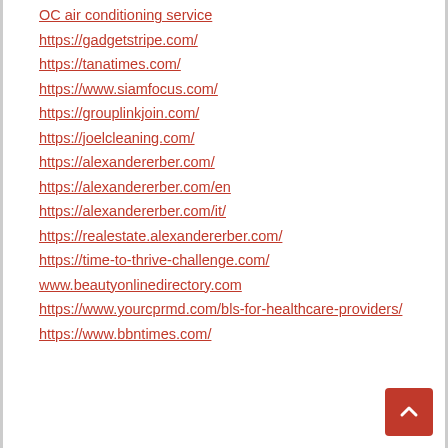OC air conditioning service
https://gadgetstripe.com/
https://tanatimes.com/
https://www.siamfocus.com/
https://grouplinkjoin.com/
https://joelcleaning.com/
https://alexandererber.com/
https://alexandererber.com/en
https://alexandererber.com/it/
https://realestate.alexandererber.com/
https://time-to-thrive-challenge.com/
www.beautyonlinedirectory.com
https://www.yourcprmd.com/bls-for-healthcare-providers/
https://www.bbntimes.com/